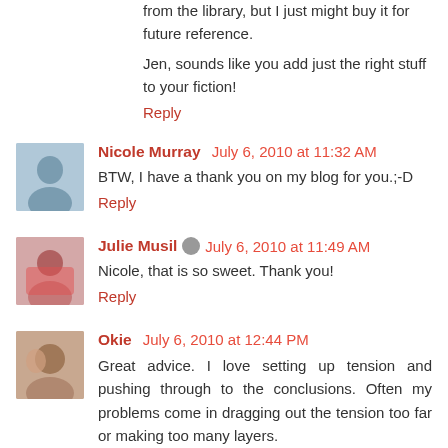from the library, but I just might buy it for future reference.
Jen, sounds like you add just the right stuff to your fiction!
Reply
Nicole Murray  July 6, 2010 at 11:32 AM
BTW, I have a thank you on my blog for you.;-D
Reply
Julie Musil  July 6, 2010 at 11:49 AM
Nicole, that is so sweet. Thank you!
Reply
Okie  July 6, 2010 at 12:44 PM
Great advice. I love setting up tension and pushing through to the conclusions. Often my problems come in dragging out the tension too far or making too many layers.